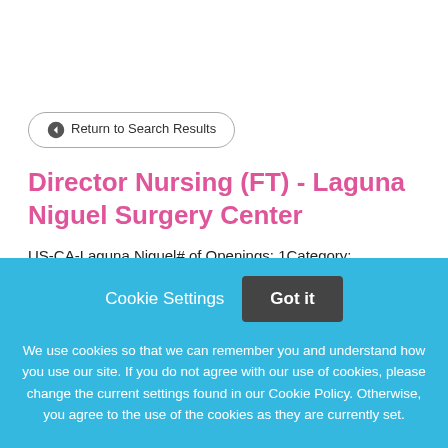Return to Search Results
Director Nursing (FT) - Laguna Niguel Surgery Center
US-CA-Laguna Niguel# of Openings: 1Category:
Cookie Settings
Got it
We use cookies so that we can remember you and understand how you use our site. If you do not agree with our use of cookies, please change the current settings found in our Cookie Policy. Otherwise, you agree to the use of the cookies as they are currently set.